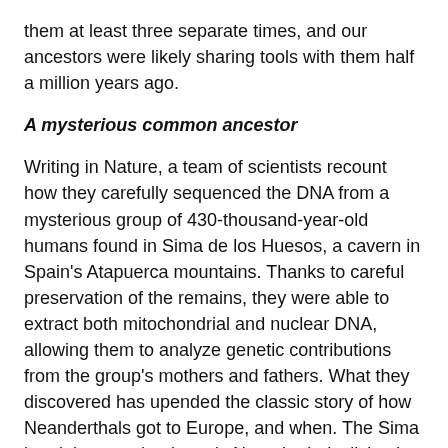them at least three separate times, and our ancestors were likely sharing tools with them half a million years ago.
A mysterious common ancestor
Writing in Nature, a team of scientists recount how they carefully sequenced the DNA from a mysterious group of 430-thousand-year-old humans found in Sima de los Huesos, a cavern in Spain's Atapuerca mountains. Thanks to careful preservation of the remains, they were able to extract both mitochondrial and nuclear DNA, allowing them to analyze genetic contributions from the group's mothers and fathers. What they discovered has upended the classic story of how Neanderthals got to Europe, and when. The Sima hominins are clearly early Neanderthals, living in Spain far earlier than expected.
Paleolithic sexytimes reveal that Homo sapiens made it out of Africa earlier than we thought.